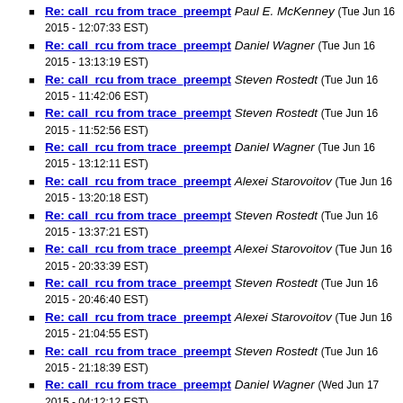Re: call_rcu from trace_preempt Paul E. McKenney (Tue Jun 16 2015 - 12:07:33 EST)
Re: call_rcu from trace_preempt Daniel Wagner (Tue Jun 16 2015 - 13:13:19 EST)
Re: call_rcu from trace_preempt Steven Rostedt (Tue Jun 16 2015 - 11:42:06 EST)
Re: call_rcu from trace_preempt Steven Rostedt (Tue Jun 16 2015 - 11:52:56 EST)
Re: call_rcu from trace_preempt Daniel Wagner (Tue Jun 16 2015 - 13:12:11 EST)
Re: call_rcu from trace_preempt Alexei Starovoitov (Tue Jun 16 2015 - 13:20:18 EST)
Re: call_rcu from trace_preempt Steven Rostedt (Tue Jun 16 2015 - 13:37:21 EST)
Re: call_rcu from trace_preempt Alexei Starovoitov (Tue Jun 16 2015 - 20:33:39 EST)
Re: call_rcu from trace_preempt Steven Rostedt (Tue Jun 16 2015 - 20:46:40 EST)
Re: call_rcu from trace_preempt Alexei Starovoitov (Tue Jun 16 2015 - 21:04:55 EST)
Re: call_rcu from trace_preempt Steven Rostedt (Tue Jun 16 2015 - 21:18:39 EST)
Re: call_rcu from trace_preempt Daniel Wagner (Wed Jun 17 2015 - 04:12:12 EST)